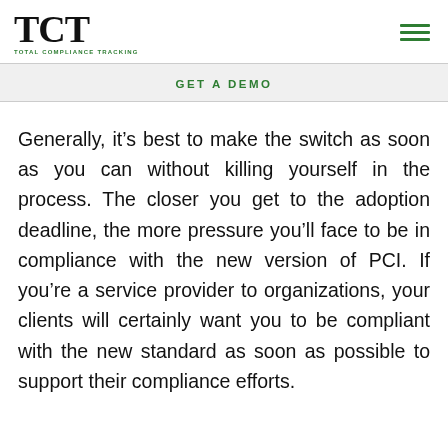TCT TOTAL COMPLIANCE TRACKING
GET A DEMO
Generally, it’s best to make the switch as soon as you can without killing yourself in the process. The closer you get to the adoption deadline, the more pressure you’ll face to be in compliance with the new version of PCI. If you’re a service provider to organizations, your clients will certainly want you to be compliant with the new standard as soon as possible to support their compliance efforts.